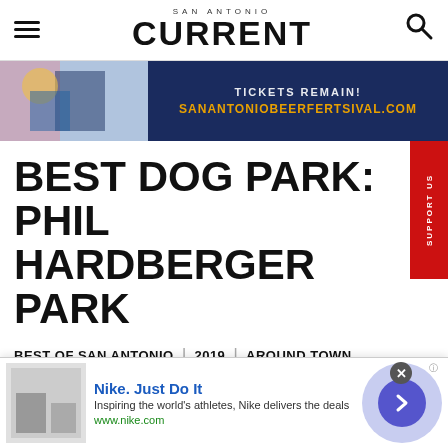SAN ANTONIO CURRENT
[Figure (screenshot): San Antonio Beer Festival advertisement banner: dark blue background with image of people on left, text 'TICKETS REMAIN!' and 'SANANTONIOBEERFERTSIVAL.COM' in orange]
BEST DOG PARK: PHIL HARDBERGER PARK
BEST OF SAN ANTONIO | 2019 | AROUND TOWN
Winner: Phil Hardberger Park
[Figure (screenshot): Nike advertisement banner at bottom: Nike shoe image on left, 'Nike. Just Do It' headline in blue, 'Inspiring the world's athletes, Nike delivers the deals', 'www.nike.com' in green, with close button and arrow button]